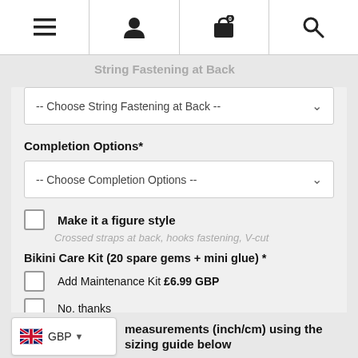Navigation bar with menu, user, cart (0), and search icons
String Fastening at Back
-- Choose String Fastening at Back --
Completion Options*
-- Choose Completion Options --
Make it a figure style
Crossed straps at back, hooks fastening, V-cut
Bikini Care Kit (20 spare gems + mini glue) *
Add Maintenance Kit £6.99 GBP
No, thanks
I'll send my measurements later
measurements (inch/cm) using the sizing guide below